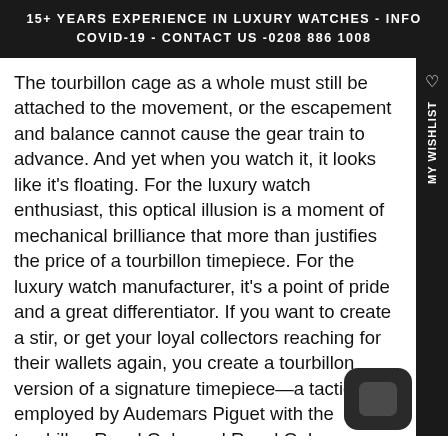15+ YEARS EXPERIENCE IN LUXURY WATCHES - INFO COVID-19 - CONTACT US -0208 886 1008
The tourbillon cage as a whole must still be attached to the movement, or the escapement and balance cannot cause the gear train to advance. And yet when you watch it, it looks like it's floating. For the luxury watch enthusiast, this optical illusion is a moment of mechanical brilliance that more than justifies the price of a tourbillon timepiece. For the luxury watch manufacturer, it's a point of pride and a great differentiator. If you want to create a stir, or get your loyal collectors reaching for their wallets again, you create a tourbillon version of a signature timepiece—a tactic employed by Audemars Piguet with the tourbillon Royal Oaks and Royal Oak Offshores. Or you develop a luxury sports watch that contains a tourbillon capable of withstanding the shock of actual sporting wear: like Richard Mille, whose tourbillon models have appeared on Centre Court at Wimbledon, and in the cockpit of F1